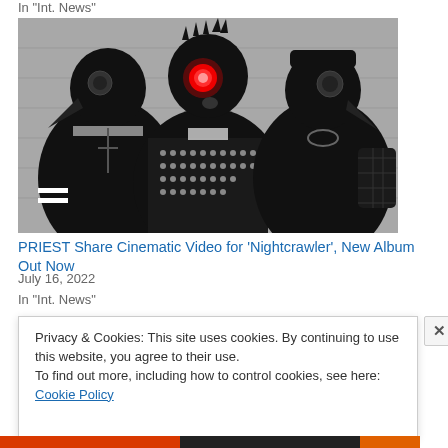In "Int. News"
[Figure (photo): Black and white photo of three performers wearing black leather jackets and bird/skull masks, the center figure has a glowing red eye]
PRIEST Share Cinematic Video for ‘Nightcrawler’, New Album Out Now
July 16, 2022
In "Int. News"
Privacy & Cookies: This site uses cookies. By continuing to use this website, you agree to their use.
To find out more, including how to control cookies, see here: Cookie Policy
Close and accept